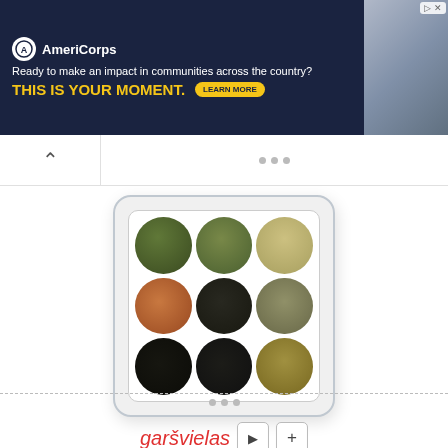[Figure (other): AmeriCorps advertisement banner: dark navy background with logo, tagline 'Ready to make an impact in communities across the country?', headline 'THIS IS YOUR MOMENT.' in yellow, with a 'LEARN MORE' button. Photo of people on right side.]
▲  ●●●
[Figure (photo): A 3x3 grid of circular piles of different spices/teas/seeds on a white background. Top row: dark green seeds, green tea leaves, light beige seeds. Middle row: reddish-brown spice, dark tea/spice with blue flower, grayish seeds. Bottom row: black seeds, dark green-black tea, golden-brown seeds.]
garšvielas
●●●